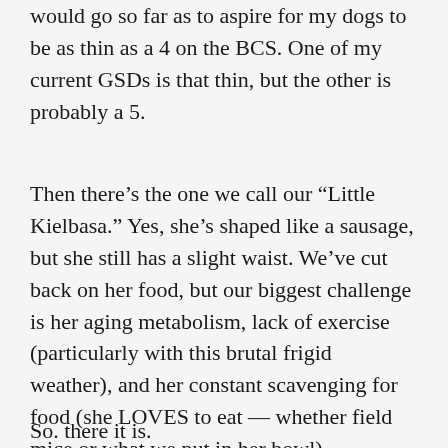would go so far as to aspire for my dogs to be as thin as a 4 on the BCS. One of my current GSDs is that thin, but the other is probably a 5.
Then there's the one we call our “Little Kielbasa.” Yes, she’s shaped like a sausage, but she still has a slight waist. We’ve cut back on her food, but our biggest challenge is her aging metabolism, lack of exercise (particularly with this brutal frigid weather), and her constant scavenging for food (she LOVES to eat — whether field mice or what we put in her bowl).
So. there it is.